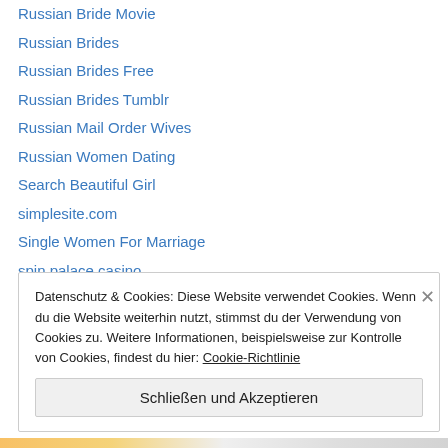Russian Bride Movie
Russian Brides
Russian Brides Free
Russian Brides Tumblr
Russian Mail Order Wives
Russian Women Dating
Search Beautiful Girl
simplesite.com
Single Women For Marriage
spin palace casino
Thc Or Cbd For Pain
Top Rated Resume Writing Services
top website builders
Datenschutz & Cookies: Diese Website verwendet Cookies. Wenn du die Website weiterhin nutzt, stimmst du der Verwendung von Cookies zu. Weitere Informationen, beispielsweise zur Kontrolle von Cookies, findest du hier: Cookie-Richtlinie
Schließen und Akzeptieren